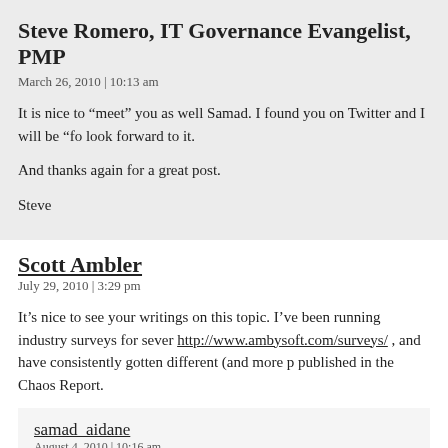Steve Romero, IT Governance Evangelist, PMP
March 26, 2010 | 10:13 am
It is nice to “meet” you as well Samad. I found you on Twitter and I will be “fo look forward to it.
And thanks again for a great post.
Steve
Scott Ambler
July 29, 2010 | 3:29 pm
It’s nice to see your writings on this topic. I’ve been running industry surveys for sever http://www.ambysoft.com/surveys/ , and have consistently gotten different (and more p published in the Chaos Report.
samad_aidane
August 4, 2010 | 10:16 am
Scott,